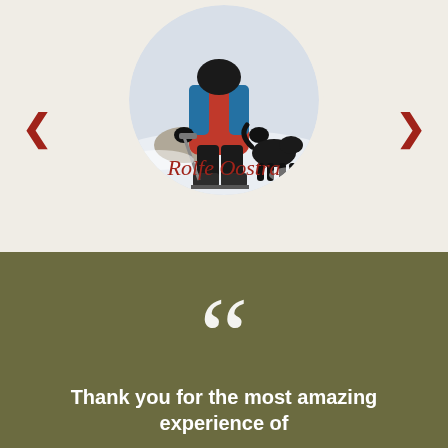[Figure (photo): Circular cropped photo of a person in winter mountaineering gear (red and blue jacket, black pants, crampons) crouching on snow, viewed from behind/side. Black dog also visible.]
< Rolfe Oostra >
[Figure (illustration): Large white quotation mark symbols on an olive/dark khaki green background]
Thank you for the most amazing experience of